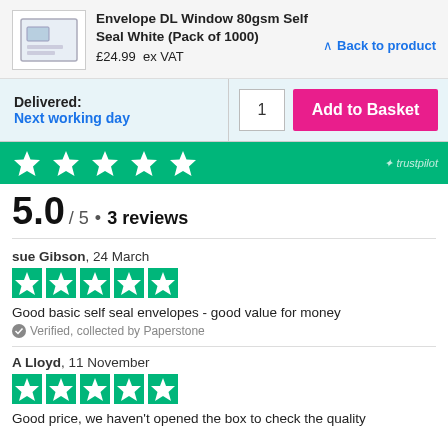Envelope DL Window 80gsm Self Seal White (Pack of 1000)
£24.99  ex VAT
^ Back to product
Delivered:
Next working day
1  Add to Basket
5.0 / 5 • 3 reviews
sue Gibson, 24 March
Good basic self seal envelopes - good value for money
Verified, collected by Paperstone
A Lloyd, 11 November
Good price, we haven't opened the box to check the quality